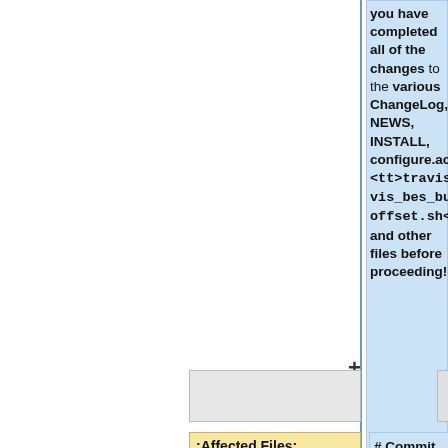you have completed all of the changes to the various ChangeLog, NEWS, INSTALL, configure.ac, <tt>travis/travis_bes_build_offset.sh</tt>, and other files before proceeding!"
;Affected Files:
# Commit and push the BES code.